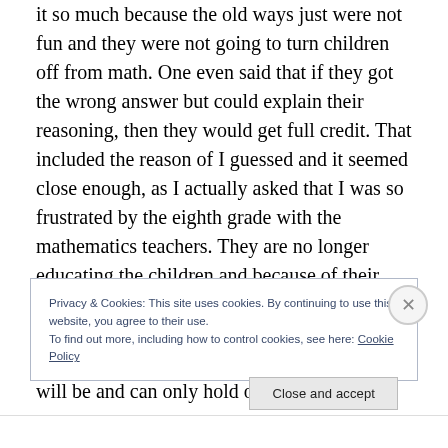it so much because the old ways just were not fun and they were not going to turn children off from math. One even said that if they got the wrong answer but could explain their reasoning, then they would get full credit. That included the reason of I guessed and it seemed close enough, as I actually asked that I was so frustrated by the eighth grade with the mathematics teachers. They are no longer educating the children and because of their unions, a teacher is next to impossible to fire once they have taught and received tenure. I can only try to imagine how future education will be and can only hold out hope that
Privacy & Cookies: This site uses cookies. By continuing to use this website, you agree to their use.
To find out more, including how to control cookies, see here: Cookie Policy